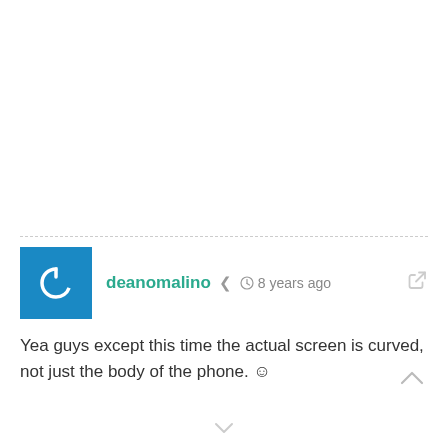deanomalino  8 years ago
Yea guys except this time the actual screen is curved, not just the body of the phone. ☺